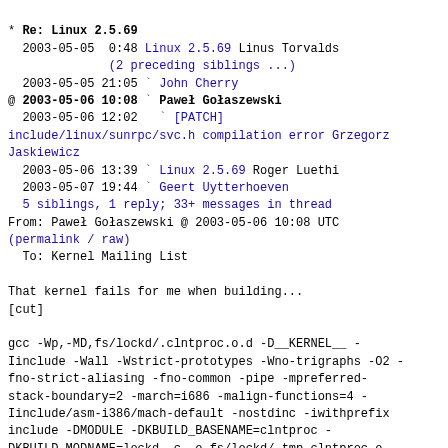* Re: Linux 2.5.69
  2003-05-05  0:48 Linux 2.5.69 Linus Torvalds
              (2 preceding siblings ...)
  2003-05-05 21:05 ` John Cherry
@ 2003-05-06 10:08 ` Pawel Golaszewski
  2003-05-06 12:02   ` [PATCH] include/linux/sunrpc/svc.h compilation error Grzegorz Jaskiewicz
  2003-05-06 13:39 ` Linux 2.5.69 Roger Luethi
  2003-05-07 19:44 ` Geert Uytterhoeven
  5 siblings, 1 reply; 33+ messages in thread
From: Pawel Golaszewski @ 2003-05-06 10:08 UTC
(permalink / raw)
  To: Kernel Mailing List

That kernel fails for me when building...
[cut]

gcc -Wp,-MD,fs/lockd/.clntproc.o.d -D__KERNEL__ -Iinclude -Wall -Wstrict-prototypes -Wno-trigraphs -O2 -fno-strict-aliasing -fno-common -pipe -mpreferred-stack-boundary=2 -march=i686 -malign-functions=4 -Iinclude/asm-i386/mach-default -nostdinc -iwithprefix include -DMODULE -DKBUILD_BASENAME=clntproc -DKBUILD_MODNAME=lockd -c -o fs/lockd/.tmp_clntproc.o fs/lockd/clntproc.c
In file included from fs/lockd/clntproc.c:17:
include/linux/sunrpc/svc.h: In function
`svc_take_page':